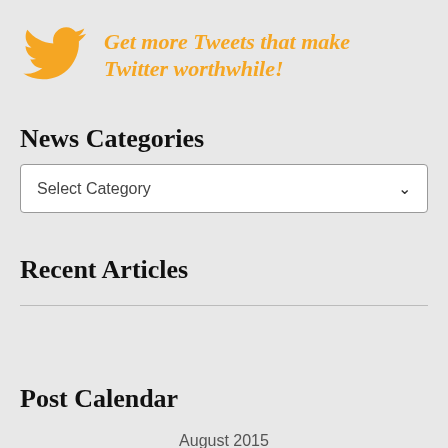[Figure (logo): Orange Twitter bird logo icon]
Get more Tweets that make Twitter worthwhile!
News Categories
Select Category
Recent Articles
Post Calendar
August 2015